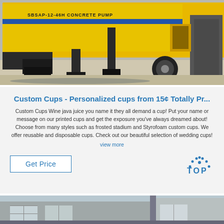[Figure (photo): Yellow concrete pump truck/machine parked in a yard, text on machine reads 'CONCRETE PUMP', blue stripe visible]
Custom Cups - Personalized cups from 15¢ Totally Pr...
Custom Cups Wine java juice you name it they all demand a cup! Put your name or message on our printed cups and get the exposure you've always dreamed about! Choose from many styles such as frosted stadium and Styrofoam custom cups. We offer reusable and disposable cups. Check out our beautiful selection of wedding cups! view more
[Figure (logo): Blue 'TOP' logo with dotted arc above the text]
[Figure (photo): Bottom portion of a building exterior with windows, bluish-gray tones]